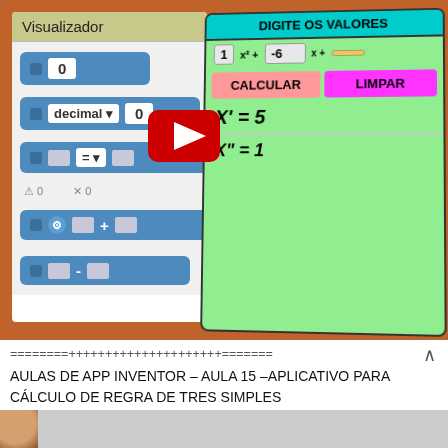[Figure (screenshot): Video thumbnail showing App Inventor programming blocks on the left (Visualizador panel with blue blocks for 0, decimal 0, equals, plus, minus) and a calculator app on the right with inputs for quadratic equation, CALCULAR and LIMPAR buttons, results X'=5 and X"=1. A YouTube play button overlay is visible in the center.]
========+++++++++++++++++++++=======   ^
AULAS DE APP INVENTOR – AULA 15 –APLICATIVO PARA CÁLCULO DE REGRA DE TRES SIMPLES
[Figure (photo): Bottom strip showing partial avatar/person photo]